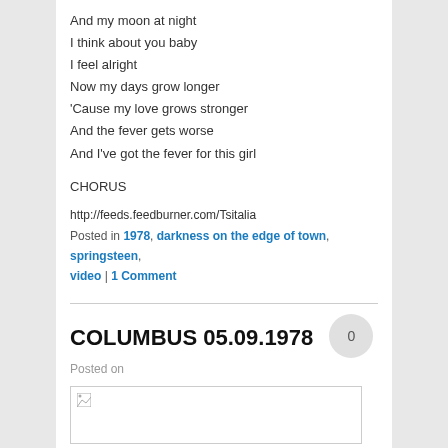And my moon at night
I think about you baby
I feel alright
Now my days grow longer
'Cause my love grows stronger
And the fever gets worse
And I've got the fever for this girl
CHORUS
http://feeds.feedburner.com/Tsitalia
Posted in 1978, darkness on the edge of town, springsteen, video | 1 Comment
COLUMBUS 05.09.1978
Posted on
[Figure (photo): Image placeholder with broken image icon in top-left corner]